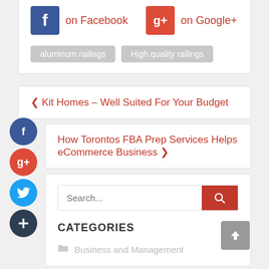[Figure (infographic): Facebook icon (blue rounded square with white 'f') and Google+ icon (orange/red rounded square with 'g+') social sharing buttons with labels 'on Facebook' and 'on Google+' in red]
aluminum railings
High quality railings
< Kit Homes – Well Suited For Your Budget
How Torontos FBA Prep Services Helps eCommerce Business >
Search...
CATEGORIES
Business and Management